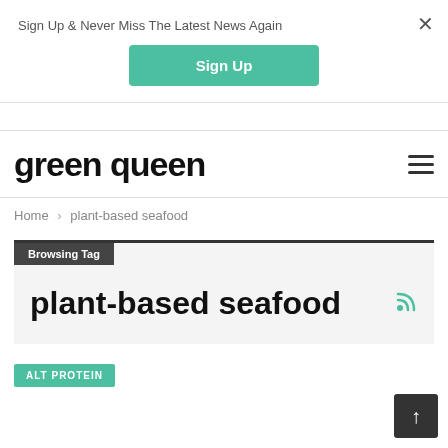Sign Up & Never Miss The Latest News Again
Sign Up
green queen
Home > plant-based seafood
Browsing Tag
plant-based seafood
ALT PROTEIN